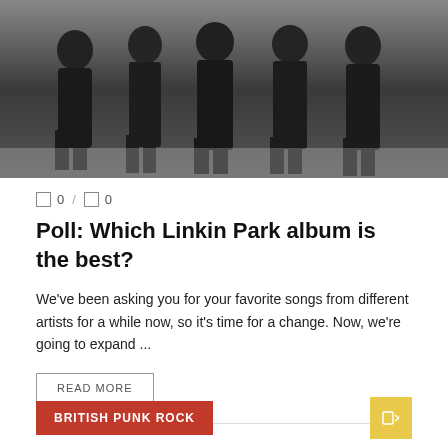[Figure (photo): Band photo of Linkin Park members standing together in dark clothing against a light background]
0 / 0
Poll: Which Linkin Park album is the best?
We've been asking you for your favorite songs from different artists for a while now, so it's time for a change. Now, we're going to expand ...
READ MORE
BRITISH PUNK ROCK